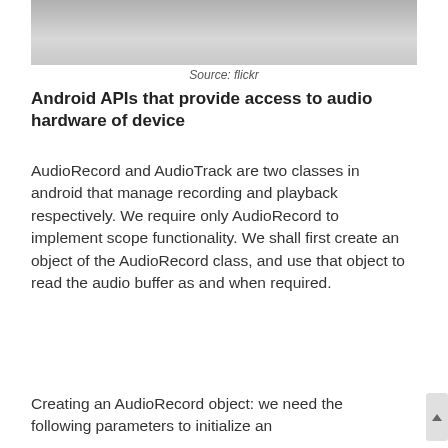[Figure (photo): Close-up photograph of audio hardware, showing a dark device against a light grey/white background]
Source: flickr
Android APIs that provide access to audio hardware of device
AudioRecord and AudioTrack are two classes in android that manage recording and playback respectively. We require only AudioRecord to implement scope functionality. We shall first create an object of the AudioRecord class, and use that object to read the audio buffer as and when required.
Creating an AudioRecord object: we need the following parameters to initialize an